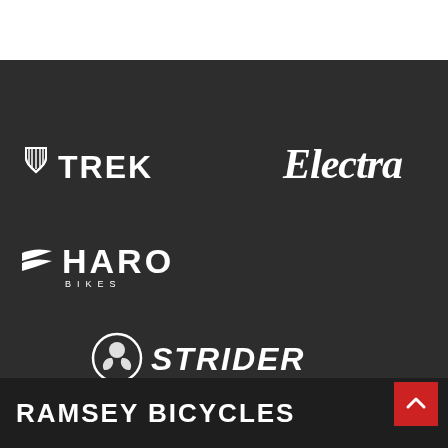[Figure (logo): Trek bicycle brand logo - white shield icon with stripes and TREK text in bold white capitals]
[Figure (logo): Electra bicycle brand logo - white cursive/script text reading Electra]
[Figure (logo): Haro Bikes logo - white chevron/wing icon followed by HARO in bold white capitals with BIKES in smaller text below]
[Figure (logo): Strider logo - circular icon with gear/wheel design followed by STRIDER in bold italic white text with chrome effect]
RAMSEY BICYCLES